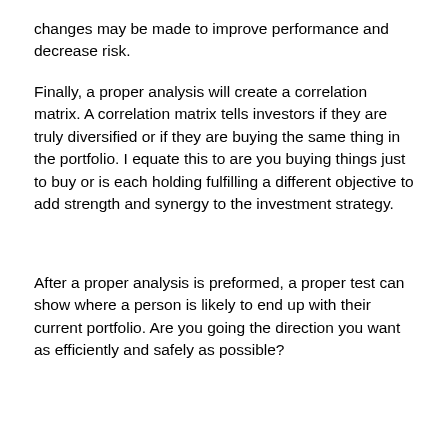changes may be made to improve performance and decrease risk.
Finally, a proper analysis will create a correlation matrix. A correlation matrix tells investors if they are truly diversified or if they are buying the same thing in the portfolio. I equate this to are you buying things just to buy or is each holding fulfilling a different objective to add strength and synergy to the investment strategy.
After a proper analysis is preformed, a proper test can show where a person is likely to end up with their current portfolio. Are you going the direction you want as efficiently and safely as possible?